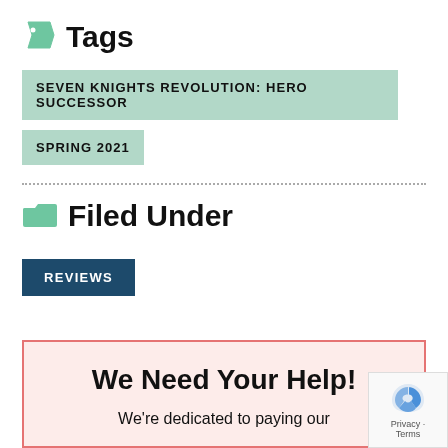Tags
SEVEN KNIGHTS REVOLUTION: HERO SUCCESSOR
SPRING 2021
Filed Under
REVIEWS
We Need Your Help!
We're dedicated to paying our